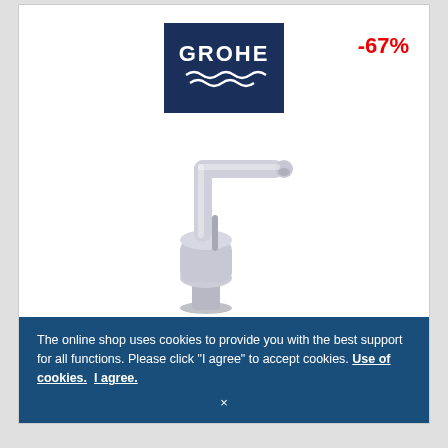[Figure (logo): GROHE brand logo — white 'GROHE' text and wave graphic on dark navy blue square background]
-67%
[Figure (photo): GROHE Minta stainless steel kitchen faucet with L-shaped swiveling spout and cylindrical body, shown in supersteel finish]
GROHE Minta - Eenhendel-Keukenkraan L-Size met draaibare buisuitloop supersteel
The online shop uses cookies to provide you with the best support for all functions. Please click "I agree" to accept cookies. Use of cookies.  I agree.